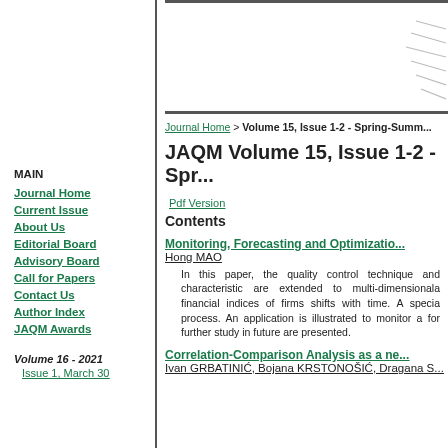JAQM Volume 15, Issue 1-2 - Spring-Summer
Journal Home > Volume 15, Issue 1-2 - Spring-Summer
JAQM Volume 15, Issue 1-2 - Spr...
Pdf Version
Contents
MAIN
Journal Home
Current Issue
About Us
Editorial Board
Advisory Board
Call for Papers
Contact Us
Author Index
JAQM Awards
Volume 16 - 2021
Issue 1, March 30
Monitoring, Forecasting and Optimization...
Hong MAO
In this paper, the quality control technique and characteristic are extended to multi-dimensionala financial indices of firms shifts with time. A special process. An application is illustrated to monitor a for further study in future are presented.
Correlation-Comparison Analysis as a ne...
Ivan GRBATINIĆ, Bojana KRSTONOŠIĆ, Dragana S...